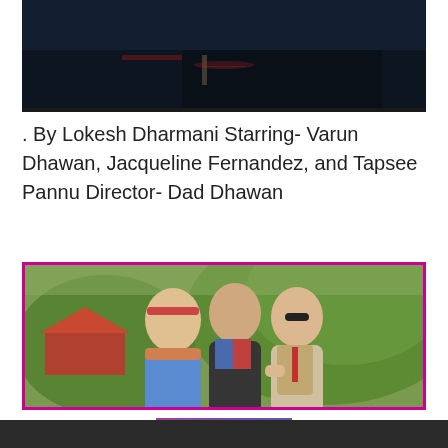[Figure (photo): Dark cinematic movie still showing the back of a vehicle, dark blue tones]
. By Lokesh Dharmani Starring- Varun Dhawan, Jacqueline Fernandez, and Tapsee Pannu Director- Dad Dhawan
[Figure (photo): Three men posing together outdoors among greenery; one wearing a headband and printed shirt, one in a dark jacket, one in a vest and tie; pink/magenta border around image]
READ MORE